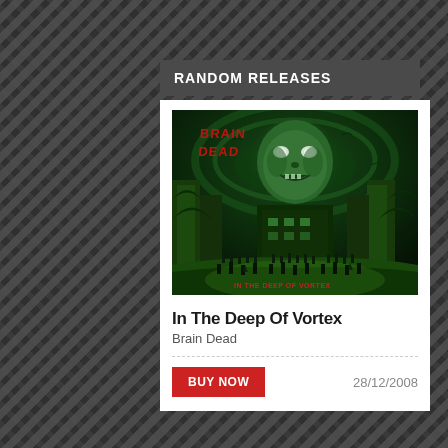RANDOM RELEASES
[Figure (illustration): Album cover art for 'In The Deep Of Vortex' by Brain Dead. Green-toned horror illustration showing a giant zombie face looming over a city street filled with fleeing people, with the band name 'BRAIN DEAD' in red letters at the top and album title 'IN THE DEEP OF VORTEX' at the bottom right.]
In The Deep Of Vortex
Brain Dead
BUY NOW
28/12/2008